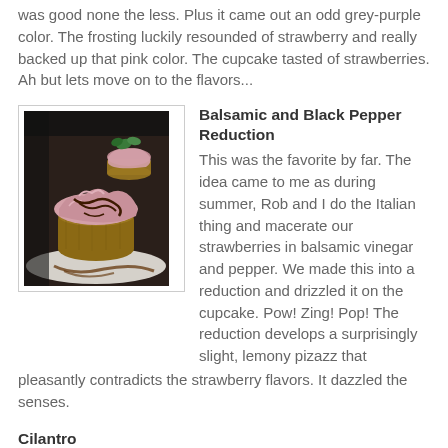was good none the less. Plus it came out an odd grey-purple color. The frosting luckily resounded of strawberry and really backed up that pink color. The cupcake tasted of strawberries. Ah but lets move on to the flavors...
[Figure (photo): Photo of a cupcake with pink frosting drizzled with balsamic reduction, with a smaller cupcake behind it, on a white plate]
Balsamic and Black Pepper Reduction
This was the favorite by far. The idea came to me as during summer, Rob and I do the Italian thing and macerate our strawberries in balsamic vinegar and pepper. We made this into a reduction and drizzled it on the cupcake. Pow! Zing! Pop! The reduction develops a surprisingly slight, lemony pizazz that pleasantly contradicts the strawberry flavors. It dazzled the senses.
Cilantro
This was the flavor we were really eager to try and at the same time understandably weary. Strawberries and cilantro